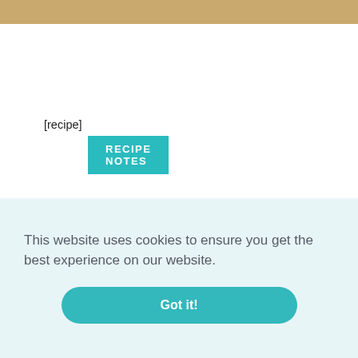[Figure (photo): Partial top strip of a food/cooking photo showing a wooden surface with food items, cropped at the top of the page]
RECIPE NOTES
[recipe]
Submit a Comment
This website uses cookies to ensure you get the best experience on our website.
Got it!